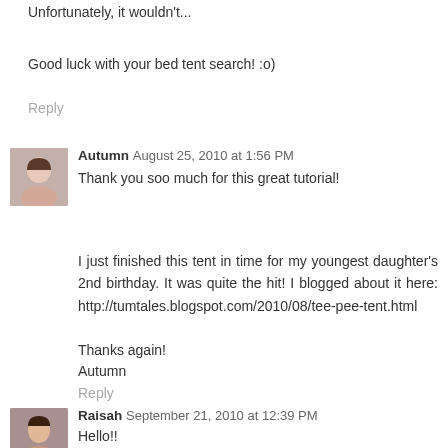Unfortunately, it wouldn't...
Good luck with your bed tent search! :o)
Reply
Autumn  August 25, 2010 at 1:56 PM
Thank you soo much for this great tutorial!
I just finished this tent in time for my youngest daughter's 2nd birthday. It was quite the hit! I blogged about it here: http://tumtales.blogspot.com/2010/08/tee-pee-tent.html
Thanks again!
Autumn
Reply
Raisah  September 21, 2010 at 12:39 PM
Hello!!